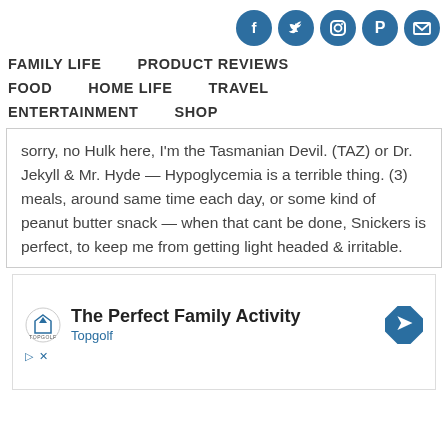[Figure (other): Social media icons: Facebook, Twitter, Instagram, Pinterest, Email — circular blue icons in top right]
FAMILY LIFE   PRODUCT REVIEWS   FOOD   HOME LIFE   TRAVEL   ENTERTAINMENT   SHOP
sorry, no Hulk here, I'm the Tasmanian Devil. (TAZ) or Dr. Jekyll & Mr. Hyde — Hypoglycemia is a terrible thing. (3) meals, around same time each day, or some kind of peanut butter snack — when that cant be done, Snickers is perfect, to keep me from getting light headed & irritable.
[Figure (other): Advertisement banner for Topgolf: The Perfect Family Activity]